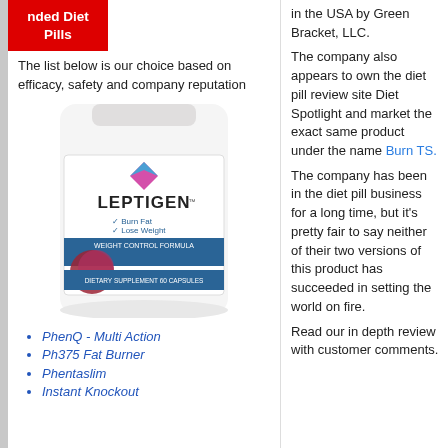nded Diet Pills
The list below is our choice based on efficacy, safety and company reputation
[Figure (photo): Leptigen Weight Control Formula dietary supplement bottle with pink and blue diamond logo, showing 'Burn Fat, Lose Weight, Boost Energy' text]
PhenQ - Multi Action
Ph375 Fat Burner
Phentaslim
Instant Knockout
in the USA by Green Bracket, LLC.
The company also appears to own the diet pill review site Diet Spotlight and market the exact same product under the name Burn TS.
The company has been in the diet pill business for a long time, but it's pretty fair to say neither of their two versions of this product has succeeded in setting the world on fire.
Read our in depth review with customer comments.